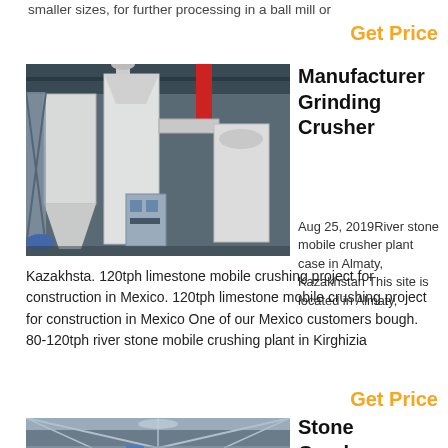smaller sizes, for further processing in a ball mill or
Get Price
[Figure (photo): Industrial grinding/crushing machinery inside a factory — large white vertical mills, hoppers, ducts, and a control panel on the factory floor.]
Manufacturer Grinding Crusher
Aug 25, 2019River stone mobile crusher plant case in Almaty, Kazakhstan This site is located in Almaty, Kazakhsta. 120tph limestone mobile crushing project for construction in Mexico. 120tph limestone mobile crushing project for construction in Mexico One of our Mexico customers bough. 80-120tph river stone mobile crushing plant in Kirghizia
Get Price
[Figure (photo): Interior of a large industrial warehouse or factory with metal roof trusses and some equipment visible.]
Stone Crusher, Mobile Crusher